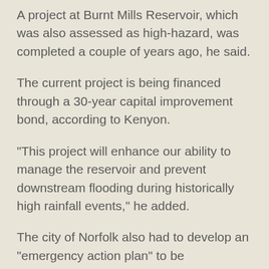A project at Burnt Mills Reservoir, which was also assessed as high-hazard, was completed a couple of years ago, he said.
The current project is being financed through a 30-year capital improvement bond, according to Kenyon.
“This project will enhance our ability to manage the reservoir and prevent downstream flooding during historically high rainfall events,” he added.
The city of Norfolk also had to develop an “emergency action plan” to be implemented if something goes wrong with the reservoir, Hopkins said.
“For engineers, this is a dream-come-true project,” he said.